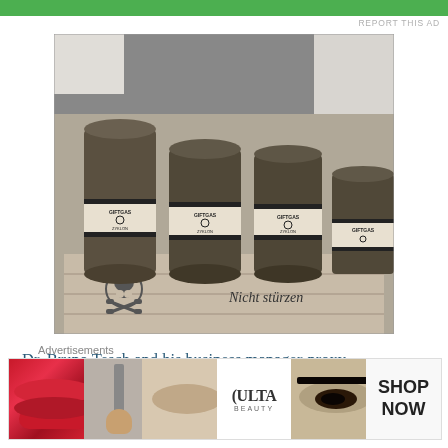REPORT THIS AD
[Figure (photo): Black and white photograph of cylindrical Zyklon B canisters with skull-and-crossbones hazard labels reading 'GIFTGAS' and 'Nicht stürzen' (Do not overturn) on the wooden crate floor]
Dr. Bruno Tesch and his business manager-proxy ("Prokurist") Karl Weinbacher, who had never been members of the German government or the German
Advertisements
[Figure (photo): Ulta Beauty advertisement banner showing close-up photos of lips with red lipstick, makeup brush, eye with makeup, Ulta Beauty logo, and eye with makeup, with SHOP NOW text]